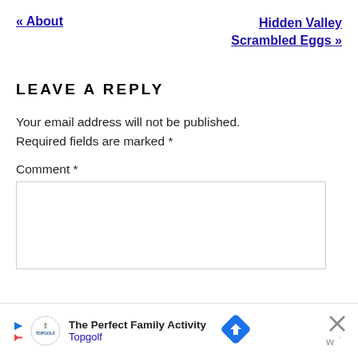« About
Hidden Valley Scrambled Eggs »
LEAVE A REPLY
Your email address will not be published. Required fields are marked *
Comment *
[Figure (other): Comment text area input box]
[Figure (other): Advertisement banner for Topgolf: The Perfect Family Activity]